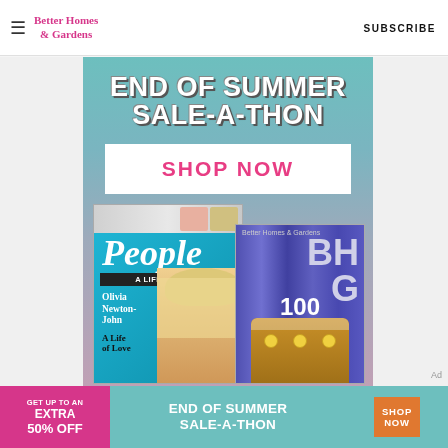Better Homes & Gardens | SUBSCRIBE
[Figure (illustration): End of Summer Sale-A-Thon advertisement banner with teal/mauve gradient background, 'END OF SUMMER SALE-A-THON' heading, 'SHOP NOW' button, People magazine cover featuring Olivia Newton-John, and Better Homes & Gardens 100th anniversary cover]
[Figure (illustration): Bottom banner ad: pink left section 'GET UP TO AN EXTRA 50% OFF', teal middle 'END OF SUMMER SALE-A-THON', orange SHOP NOW button]